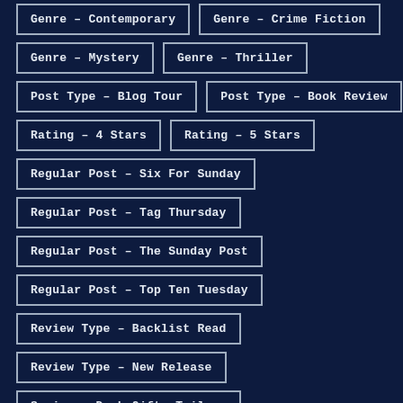Genre – Contemporary
Genre – Crime Fiction
Genre – Mystery
Genre – Thriller
Post Type – Blog Tour
Post Type – Book Review
Rating – 4 Stars
Rating – 5 Stars
Regular Post – Six For Sunday
Regular Post – Tag Thursday
Regular Post – The Sunday Post
Regular Post – Top Ten Tuesday
Review Type – Backlist Read
Review Type – New Release
Series – Dark Gifts Trilogy